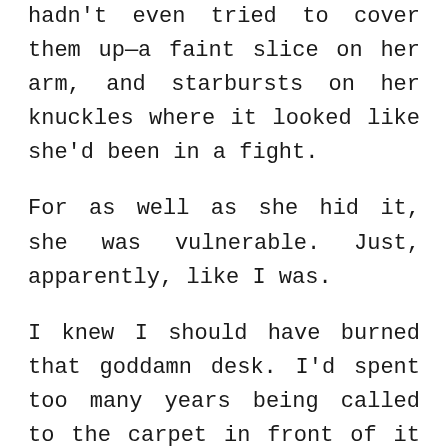hadn't even tried to cover them up—a faint slice on her arm, and starbursts on her knuckles where it looked like she'd been in a fight.
For as well as she hid it, she was vulnerable. Just, apparently, like I was.
I knew I should have burned that goddamn desk. I'd spent too many years being called to the carpet in front of it and told what a waste of time, money, and life I was. Idiot was a favorite endearment of my father's. Dumbass. Moron. Imbecile, if he